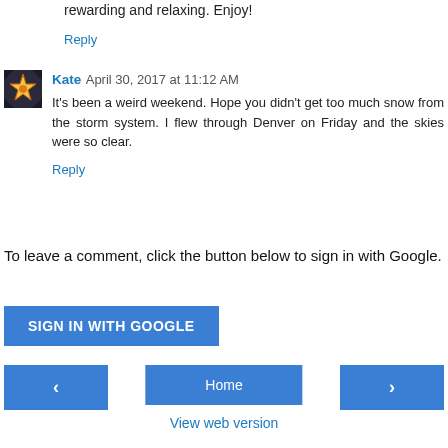rewarding and relaxing. Enjoy!
Reply
Kate  April 30, 2017 at 11:12 AM
It's been a weird weekend. Hope you didn't get too much snow from the storm system. I flew through Denver on Friday and the skies were so clear.
Reply
To leave a comment, click the button below to sign in with Google.
SIGN IN WITH GOOGLE
‹
Home
›
View web version